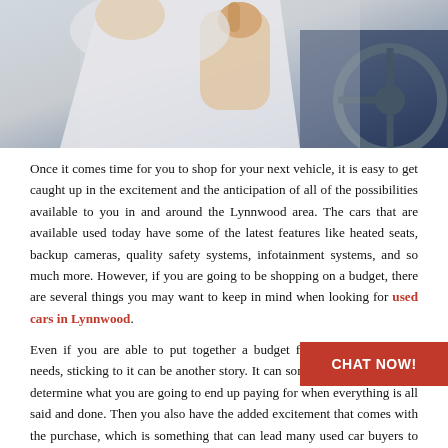[Figure (photo): Person giving thumbs up inside a car, sitting at the driver's seat with steering wheel visible]
Once it comes time for you to shop for your next vehicle, it is easy to get caught up in the excitement and the anticipation of all of the possibilities available to you in and around the Lynnwood area. The cars that are available used today have some of the latest features like heated seats, backup cameras, quality safety systems, infotainment systems, and so much more. However, if you are going to be shopping on a budget, there are several things you may want to keep in mind when looking for used cars in Lynnwood.
Even if you are able to put together a budget for your car shopping needs, sticking to it can be another story. It can sometimes be difficult to determine what you are going to end up paying for when everything is all said and done. Then you also have the added excitement that comes with the purchase, which is something that can lead many used car buyers to stray from the original budget.
The first step that you need to think about when looking for a used car while on a budget is figuring out exactly how much you are able to spend. If